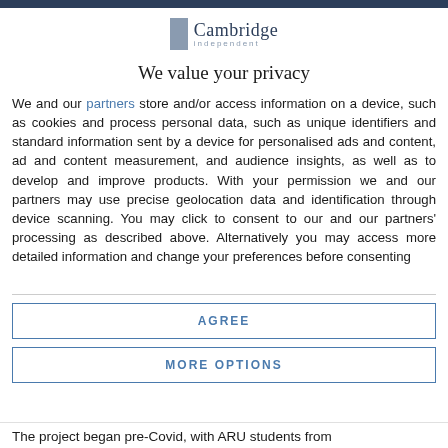[Figure (logo): Cambridge Independent logo with grey rectangle icon and text]
We value your privacy
We and our partners store and/or access information on a device, such as cookies and process personal data, such as unique identifiers and standard information sent by a device for personalised ads and content, ad and content measurement, and audience insights, as well as to develop and improve products. With your permission we and our partners may use precise geolocation data and identification through device scanning. You may click to consent to our and our partners' processing as described above. Alternatively you may access more detailed information and change your preferences before consenting
AGREE
MORE OPTIONS
The project began pre-Covid, with ARU students from